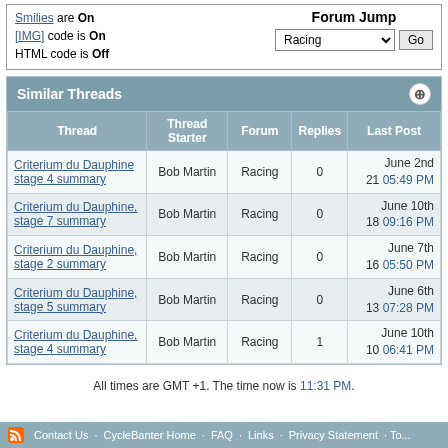Smilies are On
[IMG] code is On
HTML code is Off
Forum Jump: Racing
| Thread | Thread Starter | Forum | Replies | Last Post |
| --- | --- | --- | --- | --- |
| Criterium du Dauphine stage 4 summary | Bob Martin | Racing | 0 | June 2nd 21 05:49 PM |
| Criterium du Dauphine, stage 7 summary | Bob Martin | Racing | 0 | June 10th 18 09:16 PM |
| Criterium du Dauphine, stage 2 summary | Bob Martin | Racing | 0 | June 7th 16 05:50 PM |
| Criterium du Dauphine, stage 5 summary | Bob Martin | Racing | 0 | June 6th 13 07:28 PM |
| Criterium du Dauphine, stage 4 summary | Bob Martin | Racing | 1 | June 10th 10 06:41 PM |
All times are GMT +1. The time now is 11:31 PM.
Contact Us · CycleBanter Home · FAQ · Links · Privacy Statement · To...